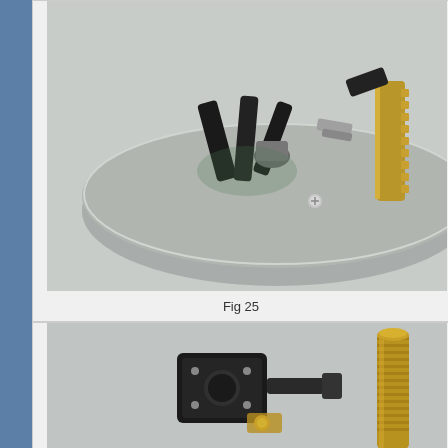[Figure (photo): Close-up photograph of a mechanical component, showing a circular disc/rotor with internal mechanical parts including black plastic components, metal contacts, and a brass gear or cylinder on the right side, viewed from above on a light gray background.]
Fig 25
[Figure (photo): Close-up photograph of disassembled mechanical parts including black metal brackets/components and a brass threaded rod/bolt, laid on a light gray background.]